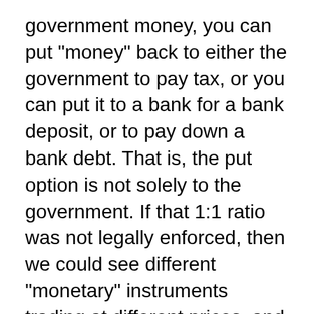government money, you can put "money" back to either the government to pay tax, or you can put it to a bank for a bank deposit, or to pay down a bank debt. That is, the put option is not solely to the government. If that 1:1 ratio was not legally enforced, then we could see different "monetary" instruments trading at different prices, and then we have to be much more worried about what entity that I can redeem that money to.
In the Canadian context, the private sector rolls over debts that are a multiple of the